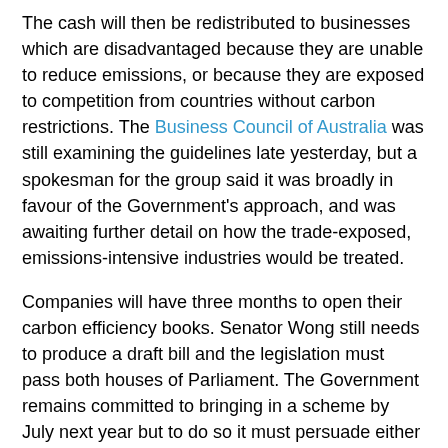The cash will then be redistributed to businesses which are disadvantaged because they are unable to reduce emissions, or because they are exposed to competition from countries without carbon restrictions. The Business Council of Australia was still examining the guidelines late yesterday, but a spokesman for the group said it was broadly in favour of the Government's approach, and was awaiting further detail on how the trade-exposed, emissions-intensive industries would be treated.
Companies will have three months to open their carbon efficiency books. Senator Wong still needs to produce a draft bill and the legislation must pass both houses of Parliament. The Government remains committed to bringing in a scheme by July next year but to do so it must persuade either the Opposition or the Greens to support it.
"If all permits were auctioned, as the Greens and the majority of economists advocate, the system would be more simple and more efficient," said the Greens Senator, Christine Milne. "Compensation should be limited to offsetting the loss